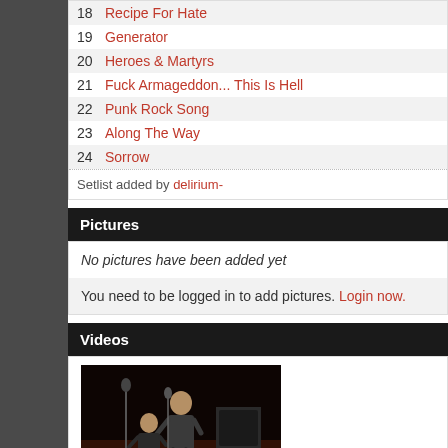18 Recipe For Hate
19 Generator
20 Heroes & Martyrs
21 Fuck Armageddon... This Is Hell
22 Punk Rock Song
23 Along The Way
24 Sorrow
Setlist added by delirium-
Pictures
No pictures have been added yet
You need to be logged in to add pictures. Login now.
Videos
[Figure (photo): Concert video thumbnail showing two performers on a dark stage with microphone stands and an amplifier]
Full show
You need to be logged in to add videos. Login now.